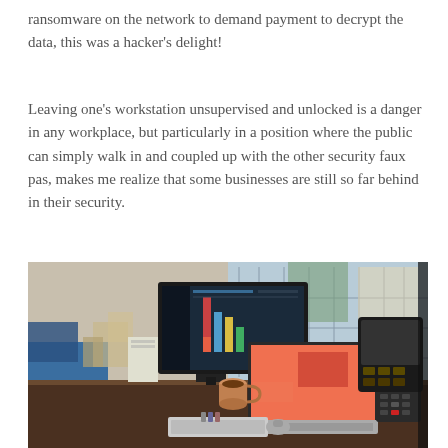ransomware on the network to demand payment to decrypt the data, this was a hacker's delight!
Leaving one's workstation unsupervised and unlocked is a danger in any workplace, but particularly in a position where the public can simply walk in and coupled up with the other security faux pas, makes me realize that some businesses are still so far behind in their security.
[Figure (photo): Photo of an unattended office workstation desk with a monitor displaying colorful content, an open laptop with a pink/orange screen, a desk phone, a POS terminal, a coffee mug, and various office items. Background shows an open public area with windows and natural light.]